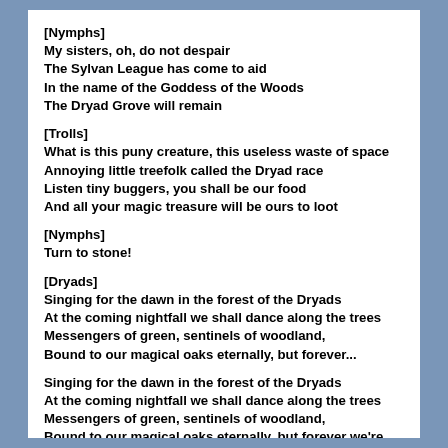[Nymphs]
My sisters, oh, do not despair
The Sylvan League has come to aid
In the name of the Goddess of the Woods
The Dryad Grove will remain
[Trolls]
What is this puny creature, this useless waste of space
Annoying little treefolk called the Dryad race
Listen tiny buggers, you shall be our food
And all your magic treasure will be ours to loot
[Nymphs]
Turn to stone!
[Dryads]
Singing for the dawn in the forest of the Dryads
At the coming nightfall we shall dance along the trees
Messengers of green, sentinels of woodland,
Bound to our magical oaks eternally, but forever...
Singing for the dawn in the forest of the Dryads
At the coming nightfall we shall dance along the trees
Messengers of green, sentinels of woodland,
Bound to our magical oaks eternally, but forever we're free